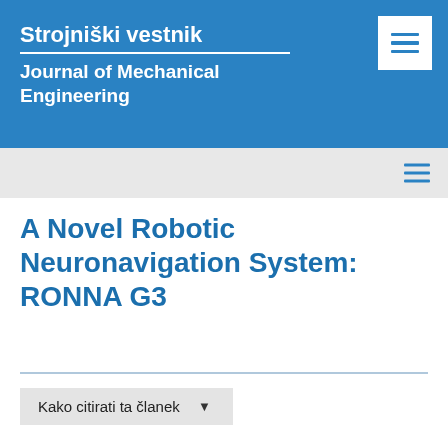Strojniški vestnik
Journal of Mechanical Engineering
A Novel Robotic Neuronavigation System: RONNA G3
Kako citirati ta članek